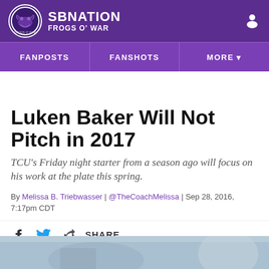SB NATION | FROGS O' WAR
Luken Baker Will Not Pitch in 2017
TCU's Friday night starter from a season ago will focus on his work at the plate this spring.
By Melissa B. Triebwasser | @TheCoachMelissa | Sep 28, 2016, 7:17pm CDT
[Figure (photo): Partial photo of baseball player at bottom of page]